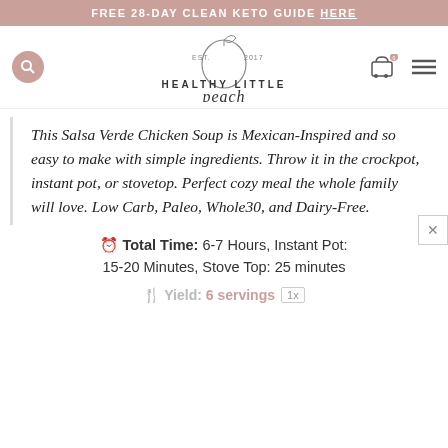FREE 28-DAY CLEAN KETO GUIDE HERE
[Figure (logo): Healthy Little Peach logo with peach illustration, 'EST. 2017', 'HEALTHY LITTLE' text and script 'peach']
This Salsa Verde Chicken Soup is Mexican-Inspired and so easy to make with simple ingredients. Throw it in the crockpot, instant pot, or stovetop. Perfect cozy meal the whole family will love. Low Carb, Paleo, Whole30, and Dairy-Free.
Total Time: 6-7 Hours, Instant Pot: 15-20 Minutes, Stove Top: 25 minutes
Yield: 6 servings 1x